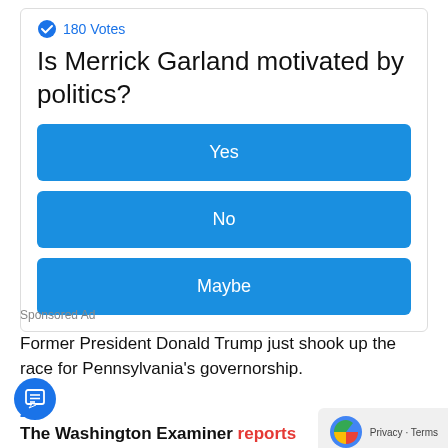180 Votes
Is Merrick Garland motivated by politics?
Yes
No
Maybe
Sponsored Ad
Former President Donald Trump just shook up the race for Pennsylvania's governorship.
The Washington Examiner reports that Trump by issuing a last-minute endorsement of state S Doug Mastriano (R).